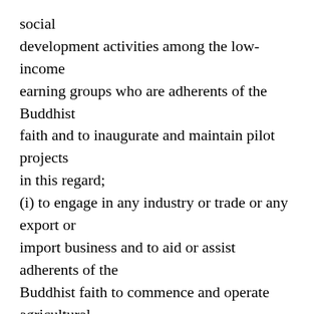social development activities among the low-income earning groups who are adherents of the Buddhist faith and to inaugurate and maintain pilot projects in this regard; (i) to engage in any industry or trade or any export or import business and to aid or assist adherents of the Buddhist faith to commence and operate agricultural, industrial and commercial ventures and to undertake training programmes and extension services and to organize propaganda activities relating to the transfer of technology; (j) to construct and maintain buildings required for the Sri Punnyawardhanaramaya, Pannala, Yatigaloluwa; (k) to promote the religious education of the Buddhist laity;